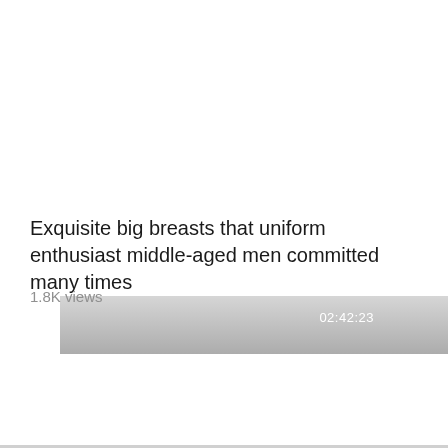[Figure (screenshot): Video thumbnail bar with gradient background showing duration timestamp 02:42:23 in white text on the right side]
Exquisite big breasts that uniform enthusiast middle-aged men committed many times
1.8K views